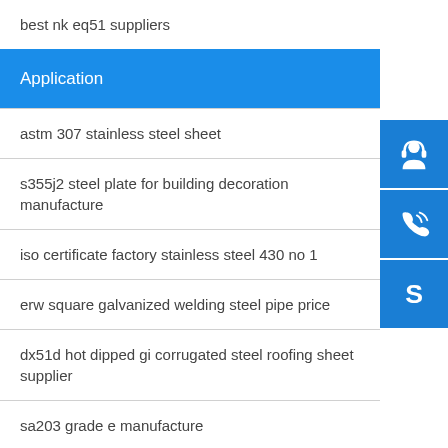best nk eq51 suppliers
Application
astm 307 stainless steel sheet
s355j2 steel plate for building decoration manufacture
iso certificate factory stainless steel 430 no 1
erw square galvanized welding steel pipe price
dx51d hot dipped gi corrugated steel roofing sheet supplier
sa203 grade e manufacture